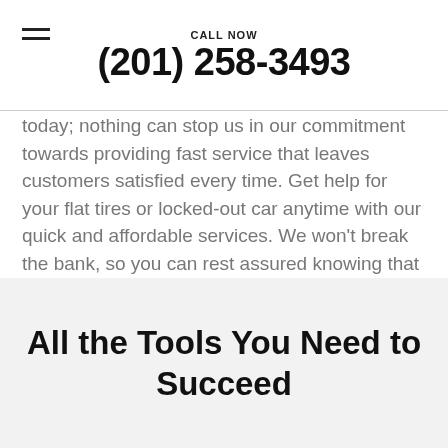CALL NOW
(201) 258-3493
today; nothing can stop us in our commitment towards providing fast service that leaves customers satisfied every time. Get help for your flat tires or locked-out car anytime with our quick and affordable services. We won't break the bank, so you can rest assured knowing that we'll take care of whatever comes up! Hoboken Towing is the towing company for you when you are in Hoboken TX and need towing near me.
All the Tools You Need to Succeed